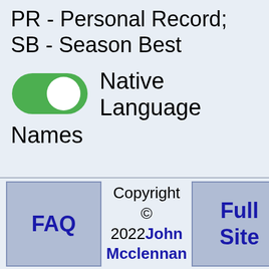PR - Personal Record; SB - Season Best
[Figure (illustration): Green toggle switch in ON position (toggled to right, white circle on right side, green background)]
Native Language Names
FAQ
Copyright © 2022 John Mcclennan
Full Site